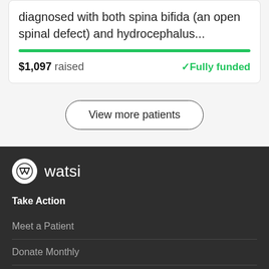diagnosed with both spina bifida (an open spinal defect) and hydrocephalus...
$1,097 raised  ✓Fully funded
View more patients
[Figure (logo): Watsi logo: white circle with W shield icon, followed by 'watsi' text in white on dark background]
Take Action
Meet a Patient
Donate Monthly
Launch a Campaign